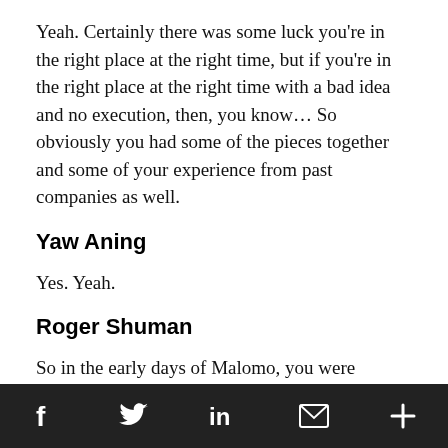Yeah. Certainly there was some luck you're in the right place at the right time, but if you're in the right place at the right time with a bad idea and no execution, then, you know… So obviously you had some of the pieces together and some of your experience from past companies as well.
Yaw Aning
Yes. Yeah.
Roger Shuman
So in the early days of Malomo, you were interviewed by TechPoint and we asked you why you chose to take on investors with Malomo? Because in the past, like with other companies like Sticksnleaves, you were
f  [twitter]  in  [envelope]  +